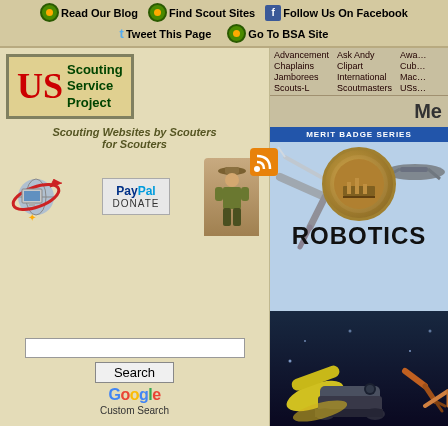Read Our Blog | Find Scout Sites | Follow Us On Facebook | Tweet This Page | Go To BSA Site
[Figure (screenshot): US Scouting Service Project logo with red US letters and green Scouting Service Project text]
Scouting Websites by Scouters for Scouters
[Figure (illustration): Globe icon with red orbit ring and PayPal Donate button and Scout figure]
Search
Google Custom Search
[Figure (screenshot): BSA Merit Badge Series Robotics book cover with robotic arms, badge medallion, and ROBOTICS title]